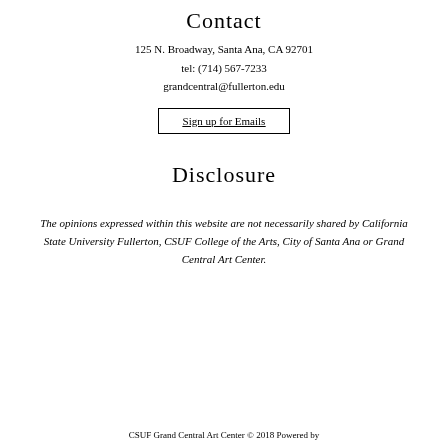Contact
125 N. Broadway, Santa Ana, CA 92701
tel: (714) 567-7233
grandcentral@fullerton.edu
Sign up for Emails
Disclosure
The opinions expressed within this website are not necessarily shared by California State University Fullerton, CSUF College of the Arts, City of Santa Ana or Grand Central Art Center.
CSUF Grand Central Art Center © 2018 Powered by